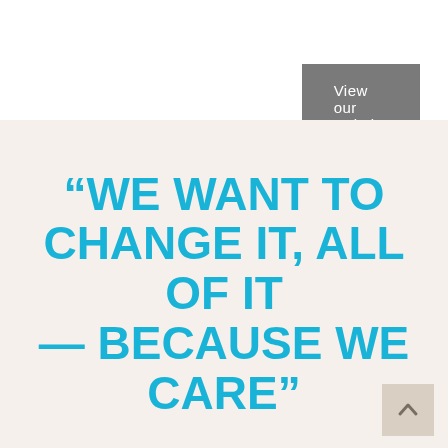View our website
“WE WANT TO CHANGE IT, ALL OF IT — BECAUSE WE CARE”